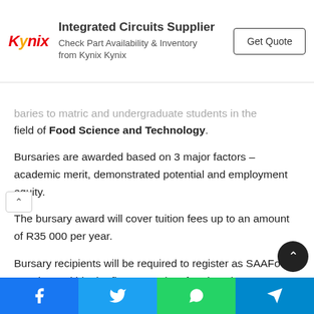[Figure (other): Kynix advertisement banner: Integrated Circuits Supplier, Check Part Availability & Inventory from Kynix Kynix, Get Quote button]
baries to matric and undergraduate students in the field of Food Science and Technology.
Bursaries are awarded based on 3 major factors – academic merit, demonstrated potential and employment equity.
The bursary award will cover tuition fees up to an amount of R35 000 per year.
Bursary recipients will be required to register as SAAFoST members within the first 3 months of registration at a tertiary institution, and must become